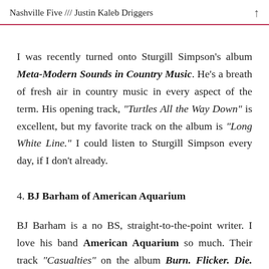Nashville Five /// Justin Kaleb Driggers
I was recently turned onto Sturgill Simpson's album Meta-Modern Sounds in Country Music. He's a breath of fresh air in country music in every aspect of the term. His opening track, “Turtles All the Way Down” is excellent, but my favorite track on the album is “Long White Line.” I could listen to Sturgill Simpson every day, if I don’t already.
4. BJ Barham of American Aquarium
BJ Barham is a no BS, straight-to-the-point writer. I love his band American Aquarium so much. Their track “Casualties” on the album Burn. Flicker. Die. will rip